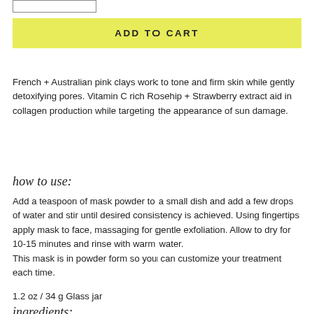[Figure (other): Partial top-edge of a bordered button element, cropped at the top of the page]
ADD TO CART
French + Australian pink clays work to tone and firm skin while gently detoxifying pores. Vitamin C rich Rosehip + Strawberry extract aid in collagen production while targeting the appearance of sun damage.
how to use:
Add a teaspoon of mask powder to a small dish and add a few drops of water and stir until desired consistency is achieved. Using fingertips apply mask to face, massaging for gentle exfoliation. Allow to dry for 10-15 minutes and rinse with warm water. This mask is in powder form so you can customize your treatment each time.
1.2 oz / 34 g Glass jar
ingredients: